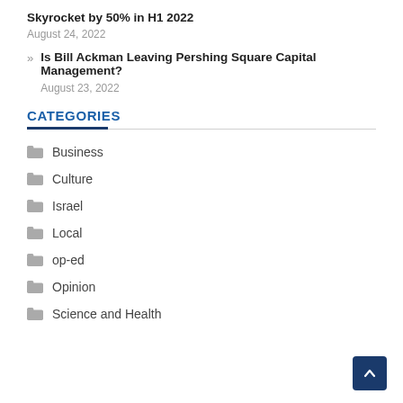Skyrocket by 50% in H1 2022
August 24, 2022
Is Bill Ackman Leaving Pershing Square Capital Management?
August 23, 2022
CATEGORIES
Business
Culture
Israel
Local
op-ed
Opinion
Science and Health